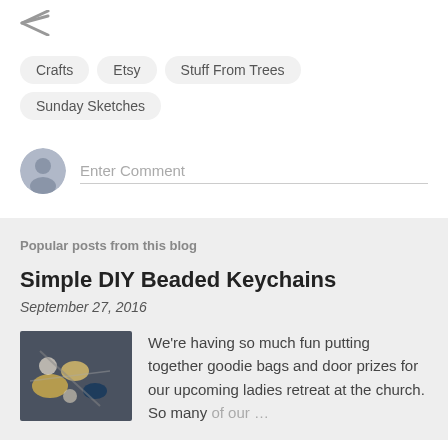[Figure (other): Share icon (less-than style arrow)]
Crafts
Etsy
Stuff From Trees
Sunday Sketches
Enter Comment
Popular posts from this blog
Simple DIY Beaded Keychains
September 27, 2016
[Figure (photo): Photo of DIY beaded keychains with gold and silver beads on a dark background]
We're having so much fun putting together goodie bags and door prizes for our upcoming ladies retreat at the church. So many of our …